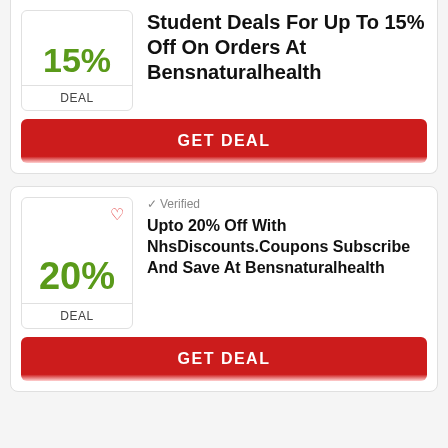15%
DEAL
Student Deals For Up To 15% Off On Orders At Bensnaturalhealth
GET DEAL
Verified
20%
DEAL
Upto 20% Off With NhsDiscounts.Coupons Subscribe And Save At Bensnaturalhealth
GET DEAL